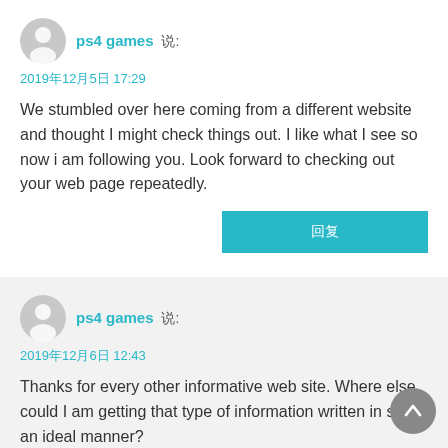[Figure (illustration): Grey user avatar icon (circle with person silhouette) for first comment]
ps4 games 说:
2019年12月5日 17:29
We stumbled over here coming from a different website and thought I might check things out. I like what I see so now i am following you. Look forward to checking out your web page repeatedly.
回复
[Figure (illustration): Grey user avatar icon (circle with person silhouette) for second comment]
ps4 games 说:
2019年12月6日 12:43
Thanks for every other informative web site. Where else could I am getting that type of information written in such an ideal manner?
[Figure (illustration): Grey circular scroll-to-top button with upward arrow]